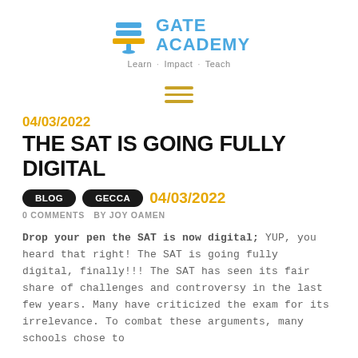[Figure (logo): Gate Academy logo with stylized book/gate icon in blue and yellow, with text GATE ACADEMY in blue]
Learn · Impact · Teach
[Figure (other): Hamburger menu icon (three horizontal yellow lines)]
04/03/2022
THE SAT IS GOING FULLY DIGITAL
BLOG  GECCA  04/03/2022
0 COMMENTS  BY JOY OAMEN
Drop your pen the SAT is now digital; YUP, you heard that right! The SAT is going fully digital, finally!!! The SAT has seen its fair share of challenges and controversy in the last few years. Many have criticized the exam for its irrelevance. To combat these arguments, many schools chose to